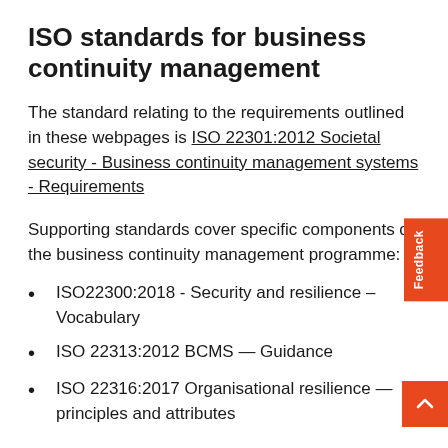ISO standards for business continuity management
The standard relating to the requirements outlined in these webpages is ISO 22301:2012 Societal security - Business continuity management systems - Requirements
Supporting standards cover specific components of the business continuity management programme:
ISO22300:2018 - Security and resilience – Vocabulary
ISO 22313:2012 BCMS — Guidance
ISO 22316:2017 Organisational resilience — principles and attributes